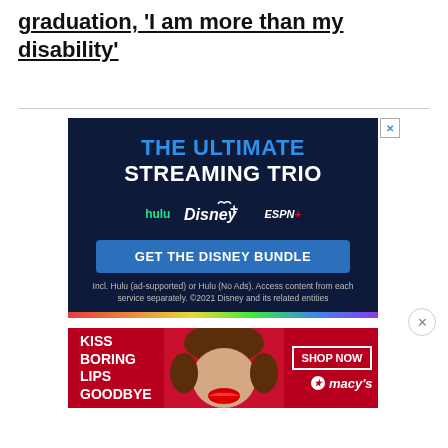graduation, 'I am more than my disability'
[Figure (infographic): Disney Bundle advertisement: dark navy background with 'THE ULTIMATE STREAMING TRIO' heading, Hulu, Disney+, and ESPN+ logos, a 'GET THE DISNEY BUNDLE' button, and fine print about included services. ©2021 Disney.]
[Figure (infographic): Macy's advertisement on red background: 'KISS BORING LIPS GOODBYE' text on left, woman with red lips in center, 'SHOP NOW' button and Macy's logo on right.]